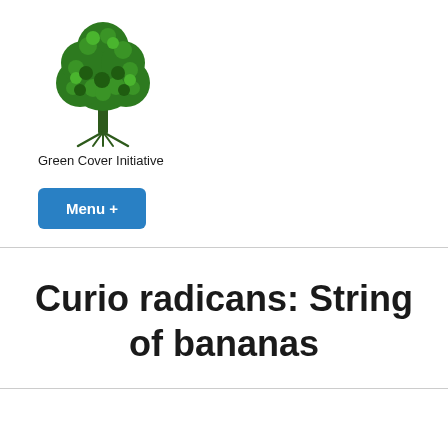[Figure (logo): Green tree logo with roots, representing Green Cover Initiative]
Green Cover Initiative
Menu +
Curio radicans: String of bananas